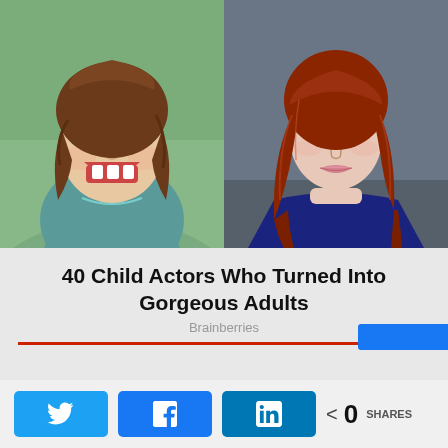[Figure (photo): Two side-by-side photos: left shows a young laughing girl child actor in a teal dress with brown hair, right shows a grown adult woman with long auburn/red hair and blue eyes in a navy top — before and after comparison.]
40 Child Actors Who Turned Into Gorgeous Adults
Brainberries
0 SHARES